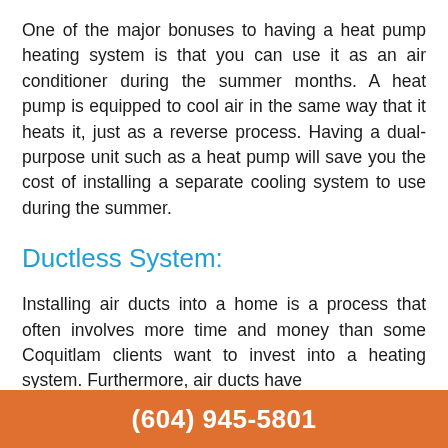One of the major bonuses to having a heat pump heating system is that you can use it as an air conditioner during the summer months. A heat pump is equipped to cool air in the same way that it heats it, just as a reverse process. Having a dual-purpose unit such as a heat pump will save you the cost of installing a separate cooling system to use during the summer.
Ductless System:
Installing air ducts into a home is a process that often involves more time and money than some Coquitlam clients want to invest into a heating system. Furthermore, air ducts have
(604) 945-5801